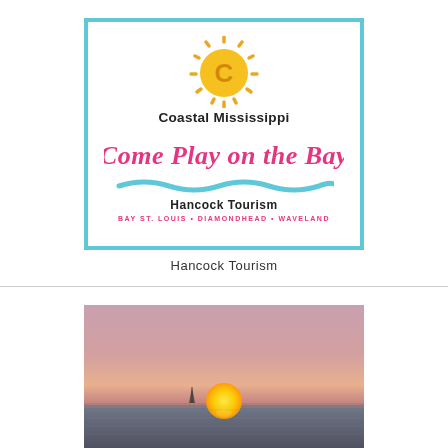[Figure (logo): Coastal Mississippi 'Come Play on the Bay' Hancock Tourism logo with sun illustration, teal wave, and cities listed: Bay St. Louis, Diamondhead, Waveland]
Hancock Tourism
[Figure (photo): Photograph of a sunset over water, with a large orange-yellow sun near the horizon, pinkish-purple sky, and dark water in the foreground with a small sailboat silhouette.]